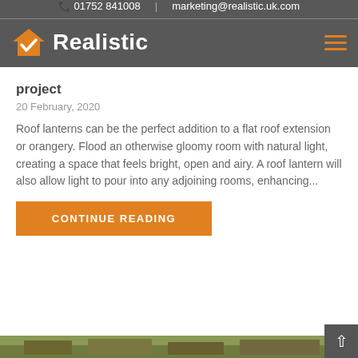01752 841008 | marketing@realistic.uk.com
[Figure (logo): Realistic logo with orange house icon and white text 'Realistic' on dark grey background]
project
20 February, 2020
Roof lanterns can be the perfect addition to a flat roof extension or orangery. Flood an otherwise gloomy room with natural light, creating a space that feels bright, open and airy. A roof lantern will also allow light to pour into any adjoining rooms, enhancing...
Continue Reading
[Figure (photo): Thumbnail strip showing aerial/roof view of houses at bottom of page]